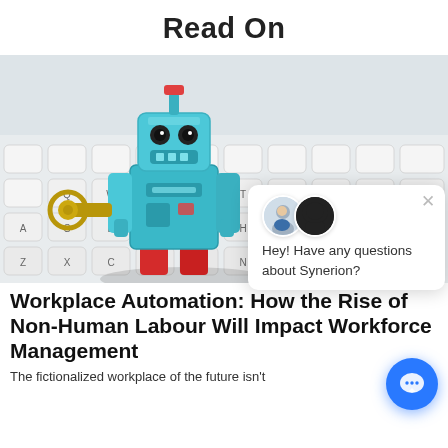Read On
[Figure (photo): A vintage blue tin wind-up robot toy standing on a white laptop/keyboard, with a gold wind-up key on its left side. The robot has a teal/cyan body with red feet and details. The keyboard keys are white Apple-style keys visible in background and foreground.]
[Figure (screenshot): A chat popup overlay showing two support agent avatars (one male, one female in hijab), a close X button, and text: Hey! Have any questions about Synerion? with a blue circular chat button in the bottom right corner.]
Workplace Automation: How the Rise of Non-Human Labour Will Impact Workforce Management
The fictionalized workplace of the future isn't